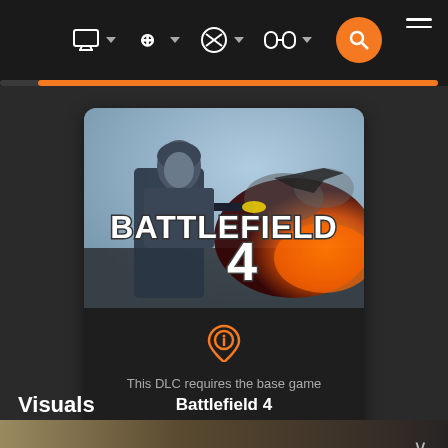Navigation bar with PC, PlayStation, Xbox, Nintendo platform icons and search button
[Figure (screenshot): Battlefield 4 game cover art showing a soldier with a rifle in a battle scene with fire and aircraft, text 'BATTLEFIELD 4' overlaid]
This DLC requires the base game
Battlefield 4
Visuals